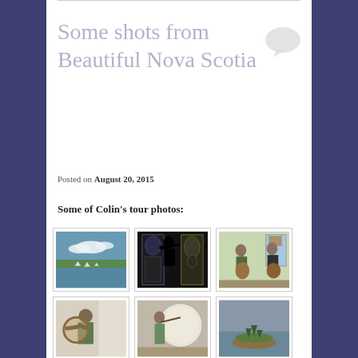Some shots from Beautiful Nova Scotia
Posted on August 20, 2015
Some of Colin's tour photos:
[Figure (photo): Grid of 6 tour photos from Nova Scotia: sailboats on water, silhouetted musician, two musicians playing guitar indoors, person with drum, person with bow and large disc, small island with trees]
[Figure (photo): Sailboats on calm water with green shore and clouds]
[Figure (photo): Silhouette of person playing violin against ornate poster]
[Figure (photo): Two musicians playing guitar indoors]
[Figure (photo): Person playing frame drum indoors]
[Figure (photo): Person with large circular disc and bow]
[Figure (photo): Small island with trees surrounded by water]